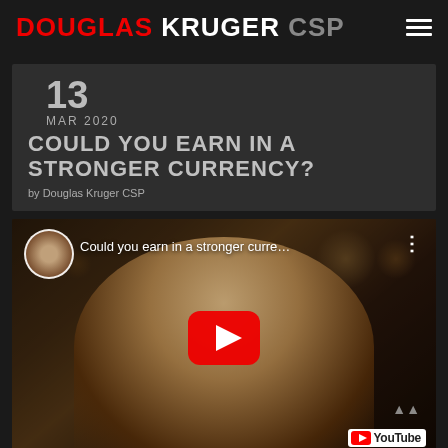DOUGLAS KRUGER CSP
13
MAR 2020
COULD YOU EARN IN A STRONGER CURRENCY?
by Douglas Kruger CSP
[Figure (screenshot): YouTube video thumbnail showing a man in a blazer speaking, with avatar circle top-left, video title 'Could you earn in a stronger curre...' and a red YouTube play button overlay. YouTube logo visible bottom right.]